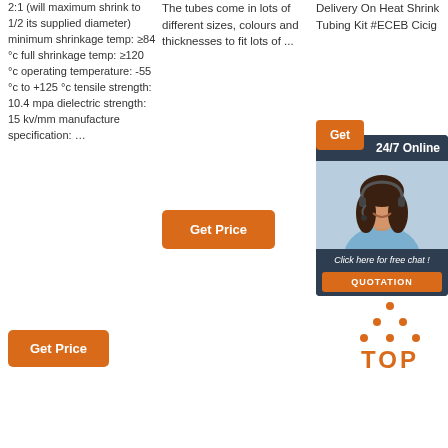2:1 (will maximum shrink to 1/2 its supplied diameter) minimum shrinkage temp: ≥84 °c full shrinkage temp: ≥120 °c operating temperature: -55 °c to +125 °c tensile strength: 10.4 mpa dielectric strength: 15 kv/mm manufacture specification: …
The tubes come in lots of different sizes, colours and thicknesses to fit lots of ...
Delivery On Heat Shrink Tubing Kit #ECEB Cicig
[Figure (photo): Customer service representative woman with headset smiling, shown in a dark blue chat widget with '24/7 Online' header, 'Click here for free chat!' text and QUOTATION button]
Get Price (button, column 2)
Get Price (button, column 1)
[Figure (illustration): TOP icon with orange dots above letters TOP in orange]